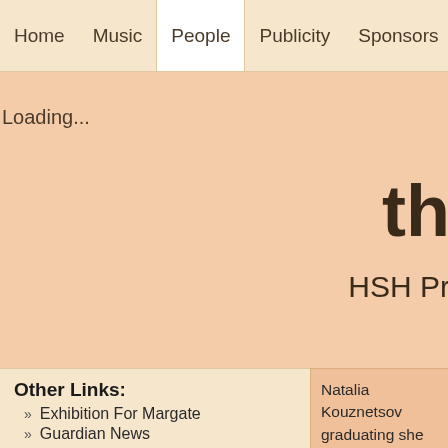Home   Music   People   Publicity   Sponsors   Conta
Loading...
th
HSH Pr
Other Links:
» Exhibition For Margate
» Guardian News
Natalia Kouznetsov graduating she beca lecturer in music in